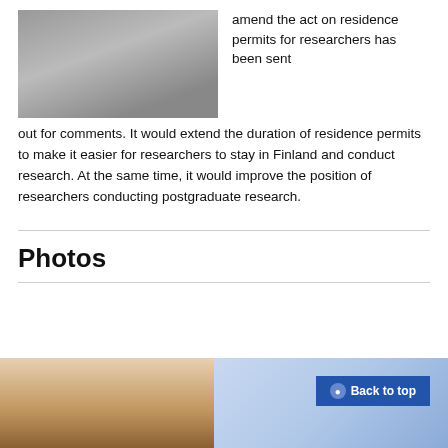[Figure (photo): Person at a podium or instrument, grayscale photo]
amend the act on residence permits for researchers has been sent out for comments. It would extend the duration of residence permits to make it easier for researchers to stay in Finland and conduct research. At the same time, it would improve the position of researchers conducting postgraduate research.
Photos
[Figure (photo): Two photos side by side: left shows a person (partial, warm tones), right shows a blue/lavender background]
Back to top